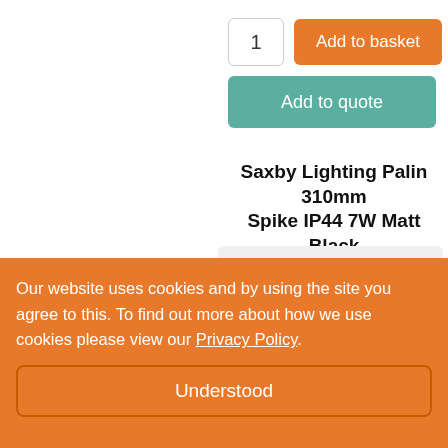1
Add to basket
Add to quote
Saxby Lighting Palin 310mm Spike IP44 7W Matt Black
Dispatch 3-5 Days
SKU: 75438
Quantity Discount
Our website uses cookies and by using the site you agree to this. To find out more about how we use cookies please view our Privacy Policy.
Understood